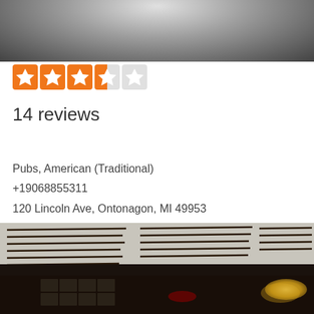[Figure (photo): Top portion of a photo, appears to show a round metallic or icy surface with dark/silver tones]
[Figure (infographic): Star rating showing 3.5 out of 5 stars in orange/grey on white background]
14 reviews
Pubs, American (Traditional)
+19068855311
120 Lincoln Ave, Ontonagon, MI 49953
Stubb's Bar
[Figure (photo): Interior of Stubb's Bar showing vintage rifles mounted on the wall, a deer head mount, photos on lower walls, and warm lighting]